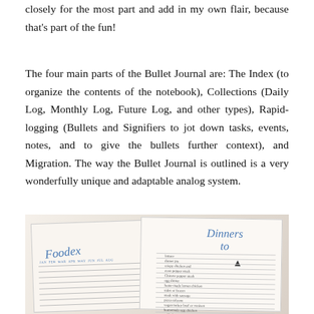closely for the most part and add in my own flair, because that's part of the fun!
The four main parts of the Bullet Journal are: The Index (to organize the contents of the notebook), Collections (Daily Log, Monthly Log, Future Log, and other types), Rapid-logging (Bullets and Signifiers to jot down tasks, events, notes, and to give the bullets further context), and Migration. The way the Bullet Journal is outlined is a very wonderfully unique and adaptable analog system.
[Figure (photo): A photograph of an open bullet journal showing two pages: the left page has a 'Foodex' tracker written in blue cursive with a grid layout showing months, and the right page shows a 'Dinners' list written in blue cursive with handwritten dinner entries.]